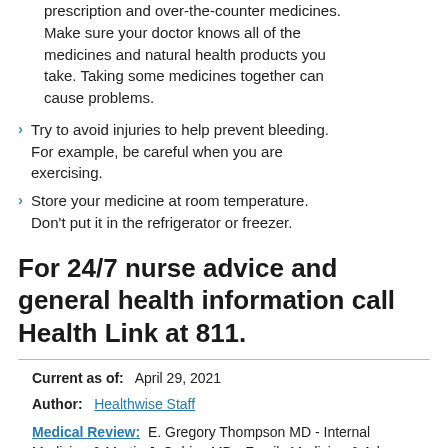prescription and over-the-counter medicines. Make sure your doctor knows all of the medicines and natural health products you take. Taking some medicines together can cause problems.
Try to avoid injuries to help prevent bleeding. For example, be careful when you are exercising.
Store your medicine at room temperature. Don't put it in the refrigerator or freezer.
For 24/7 nurse advice and general health information call Health Link at 811.
Current as of:  April 29, 2021
Author:  Healthwise Staff
Medical Review:  E. Gregory Thompson MD - Internal Medicine & Martin J. Gabica MD - Family Medicine & Adam Husney MD - Family Medicine & Kathleen Romito MD - Family Medicine & Caroline S. Rhoads MD - Internal Medicine